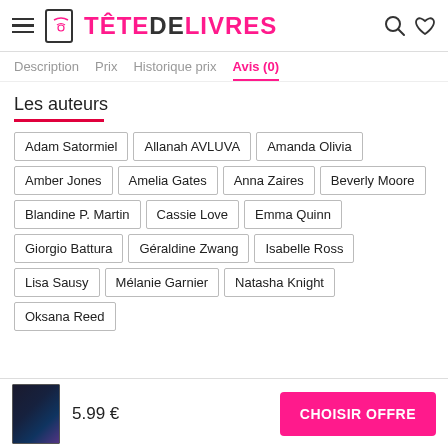TÊTEDELIVRES
Description
Prix
Historique prix
Avis (0)
Les auteurs
Adam Satormiel
Allanah AVLUVA
Amanda Olivia
Amber Jones
Amelia Gates
Anna Zaires
Beverly Moore
Blandine P. Martin
Cassie Love
Emma Quinn
Giorgio Battura
Géraldine Zwang
Isabelle Ross
Lisa Sausy
Mélanie Garnier
Natasha Knight
Oksana Reed
5.99 €
CHOISIR OFFRE